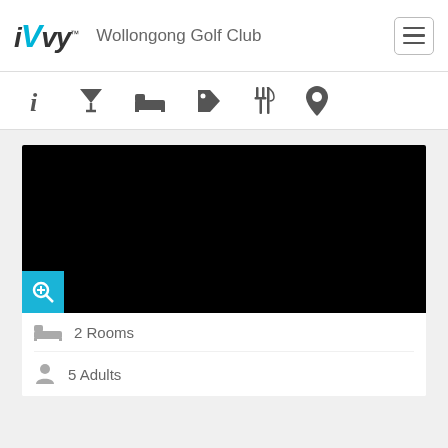iVvy — Wollongong Golf Club
[Figure (screenshot): Navigation icon bar with info, cocktail/filter, bed, tag, utensils, and location pin icons]
[Figure (photo): Black image panel with a cyan zoom/search button in the bottom-left corner]
2 Rooms
5 Adults